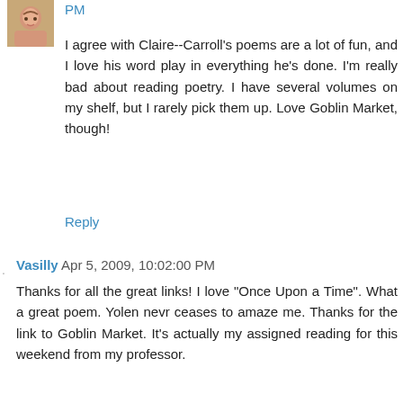[Figure (photo): Small avatar photo of a smiling woman with brown hair]
PM
I agree with Claire--Carroll's poems are a lot of fun, and I love his word play in everything he's done. I'm really bad about reading poetry. I have several volumes on my shelf, but I rarely pick them up. Love Goblin Market, though!
Reply
Vasilly Apr 5, 2009, 10:02:00 PM
Thanks for all the great links! I love "Once Upon a Time". What a great poem. Yolen nevr ceases to amaze me. Thanks for the link to Goblin Market. It's actually my assigned reading for this weekend from my professor.
Have a great week!
Reply
priscilla Apr 5, 2009, 10:40:00 PM
"For when he sleeps he does so with charm, a tidy hump